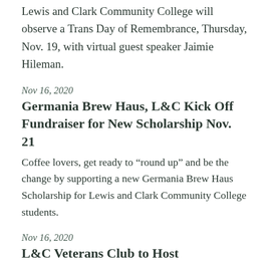Lewis and Clark Community College will observe a Trans Day of Remembrance, Thursday, Nov. 19, with virtual guest speaker Jaimie Hileman.
Nov 16, 2020
Germania Brew Haus, L&C Kick Off Fundraiser for New Scholarship Nov. 21
Coffee lovers, get ready to “round up” and be the change by supporting a new Germania Brew Haus Scholarship for Lewis and Clark Community College students.
Nov 16, 2020
L&C Veterans Club to Host